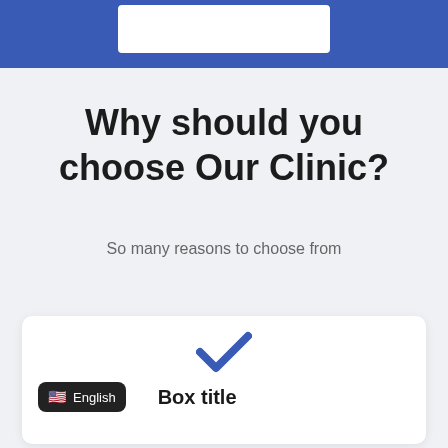[Figure (screenshot): Blue header banner with a white input/search box at the top center]
Why should you choose Our Clinic?
So many reasons to choose from
[Figure (illustration): White card with a blue checkmark icon at top center, a language selector badge showing a US flag and English, and a Box title label]
Box title